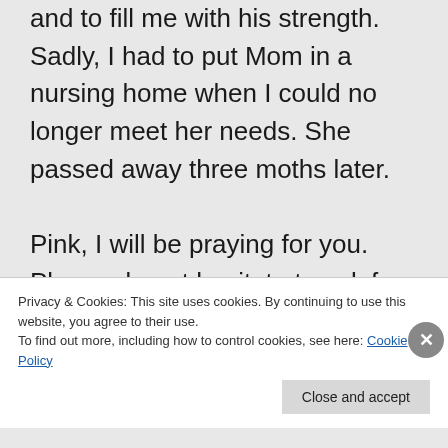and to fill me with his strength. Sadly, I had to put Mom in a nursing home when I could no longer meet her needs. She passed away three moths later.

Pink, I will be praying for you. Please do not hesitate to ask for help. It is important to connect with others both for support and advice. The
Privacy & Cookies: This site uses cookies. By continuing to use this website, you agree to their use.
To find out more, including how to control cookies, see here: Cookie Policy